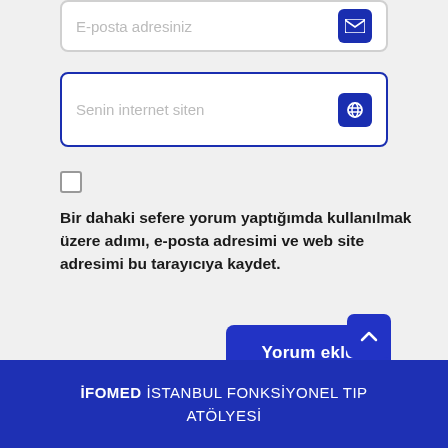E-posta adresiniz
Senin internet siten
Bir dahaki sefere yorum yaptığımda kullanılmak üzere adımı, e-posta adresimi ve web site adresimi bu tarayıcıya kaydet.
Yorum ekle
İFOMED İSTANBUL FONKSİYONEL TIP ATÖLYESİ